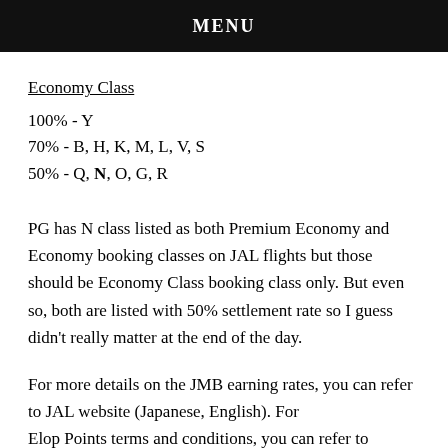MENU
Economy Class
100% - Y
70% - B, H, K, M, L, V, S
50% - Q, N, O, G, R
PG has N class listed as both Premium Economy and Economy booking classes on JAL flights but those should be Economy Class booking class only. But even so, both are listed with 50% settlement rate so I guess didn't really matter at the end of the day.
For more details on the JMB earning rates, you can refer to JAL website (Japanese, English). For Elop Points terms and conditions, you can refer to…